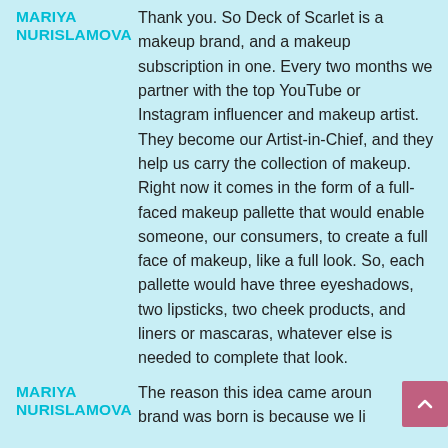MARIYA NURISLAMOVA
Thank you. So Deck of Scarlet is a makeup brand, and a makeup subscription in one. Every two months we partner with the top YouTube or Instagram influencer and makeup artist. They become our Artist-in-Chief, and they help us carry the collection of makeup. Right now it comes in the form of a full-faced makeup pallette that would enable someone, our consumers, to create a full face of makeup, like a full look. So, each pallette would have three eyeshadows, two lipsticks, two cheek products, and liners or mascaras, whatever else is needed to complete that look.
MARIYA NURISLAMOVA
The reason this idea came around brand was born is because we li...